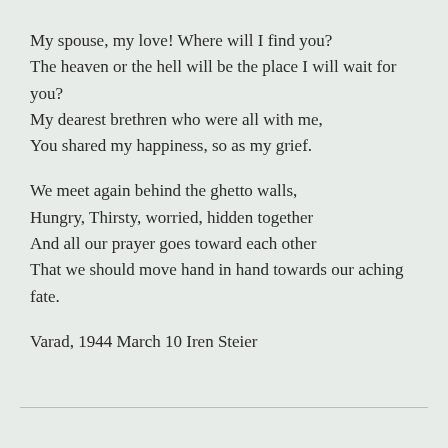My spouse, my love! Where will I find you?
The heaven or the hell will be the place I will wait for you?
My dearest brethren who were all with me,
You shared my happiness, so as my grief.

We meet again behind the ghetto walls,
Hungry, Thirsty, worried, hidden together
And all our prayer goes toward each other
That we should move hand in hand towards our aching fate.

Varad, 1944 March 10 Iren Steier